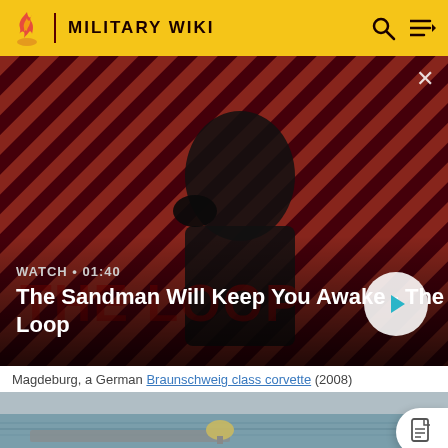MILITARY WIKI
[Figure (screenshot): Video thumbnail: The Sandman Will Keep You Awake - The Loop. Shows a dark figure with a raven on shoulder against red and black diagonal striped background. Play button visible. Duration: 01:40]
Magdeburg, a German Braunschweig class corvette (2008)
[Figure (photo): Photo of a naval ship on the sea, partially visible. Gray ocean water visible.]